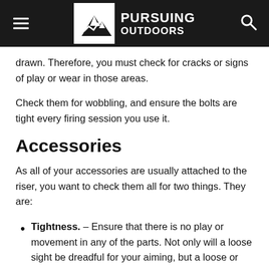Pursuing Outdoors
drawn. Therefore, you must check for cracks or signs of play or wear in those areas.
Check them for wobbling, and ensure the bolts are tight every firing session you use it.
Accessories
As all of your accessories are usually attached to the riser, you want to check them all for two things. They are:
Tightness. – Ensure that there is no play or movement in any of the parts. Not only will a loose sight be dreadful for your aiming, but a loose or wobbling arrow rest can cause stray arrows. That is certainly not something that you